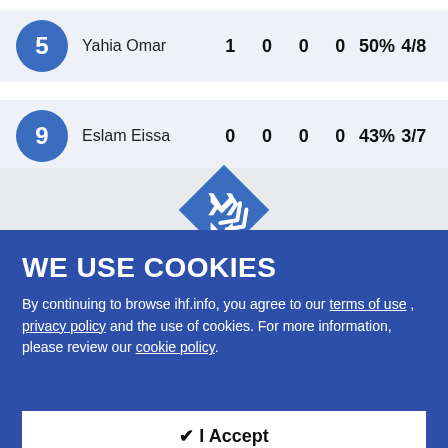| # | Name | 1 | 0 | 0 | 0 | 50% | 4/8 |
| --- | --- | --- | --- | --- | --- | --- | --- |
| 5 | Yahia Omar | 1 | 0 | 0 | 0 | 50% | 4/8 |
| 9 | Eslam Eissa | 0 | 0 | 0 | 0 | 43% | 3/7 |
[Figure (other): Blue diamond shape with double chevron/down-arrow icon indicating expand or scroll down]
WE USE COOKIES
By continuing to browse ihf.info, you agree to our terms of use , privacy policy and the use of cookies. For more information, please review our cookie policy.
✔ I Accept